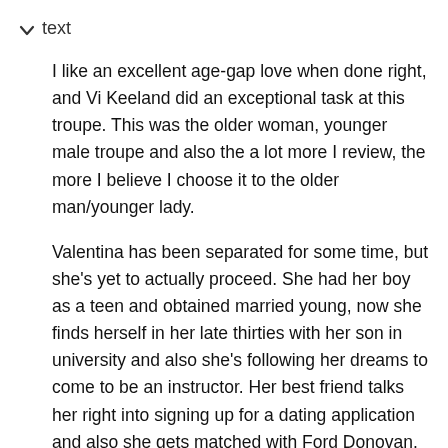text
I like an excellent age-gap love when done right, and Vi Keeland did an exceptional task at this troupe. This was the older woman, younger male troupe and also the a lot more I review, the more I believe I choose it to the older man/younger lady.

Valentina has been separated for some time, but she's yet to actually proceed. She had her boy as a teen and obtained married young, now she finds herself in her late thirties with her son in university and also she's following her dreams to come to be an instructor. Her best friend talks her right into signing up for a dating application and also she gets matched with Ford Donovan. Vi Keeland – All Grown Up Audiobook Free. Ford is twenty five, 12 years her junior, and also she